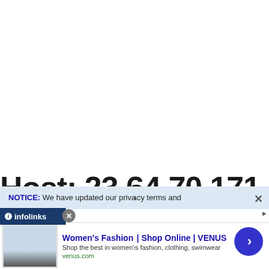Host: 23.64.70.171
NOTICE: We have updated our privacy terms and
[Figure (screenshot): Infolinks ad network bar with logo]
[Figure (screenshot): Advertisement banner: Women's Fashion | Shop Online | VENUS - Shop the best in women's fashion, clothing, swimwear - venus.com]